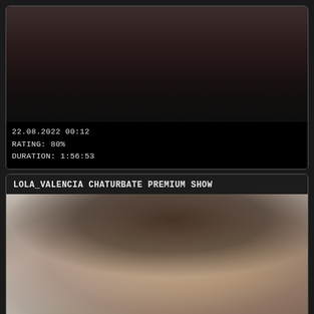[Figure (photo): Video thumbnail showing close-up body image with dark background]
22.08.2022 00:12
RATING: 80%
DURATION: 1:56:53
LOLA_VALENCIA CHATURBATE PREMIUM SHOW
[Figure (photo): Portrait photo of a woman with natural curly hair against a light background]